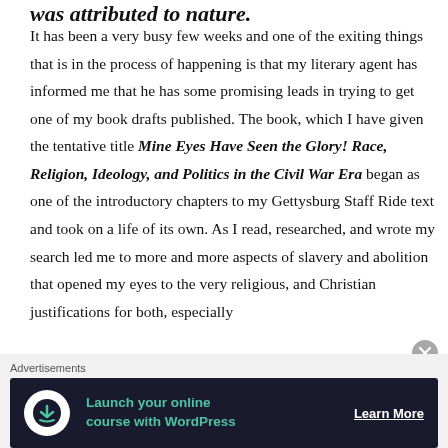was attributed to nature.
It has been a very busy few weeks and one of the exiting things that is in the process of happening is that my literary agent has informed me that he has some promising leads in trying to get one of my book drafts published. The book, which I have given the tentative title Mine Eyes Have Seen the Glory! Race, Religion, Ideology, and Politics in the Civil War Era began as one of the introductory chapters to my Gettysburg Staff Ride text and took on a life of its own. As I read, researched, and wrote my search led me to more and more aspects of slavery and abolition that opened my eyes to the very religious, and Christian justifications for both, especially
[Figure (other): Advertisement banner: 'Launch your online course with WordPress' with Learn More button on dark navy background]